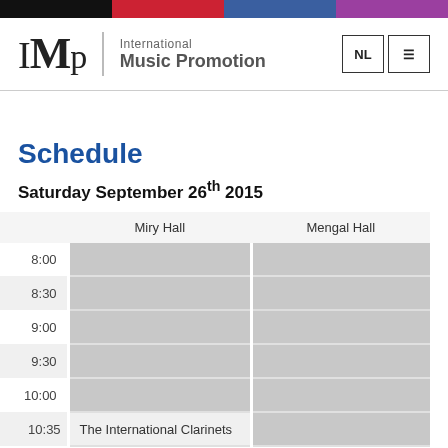IMP | International Music Promotion [colored top bar + logo header]
Schedule
Saturday September 26th 2015
|  | Miry Hall | Mengal Hall |
| --- | --- | --- |
| 8:00 |  |  |
| 8:30 |  |  |
| 9:00 |  |  |
| 9:30 |  |  |
| 10:00 |  |  |
| 10:35 | The International Clarinets |  |